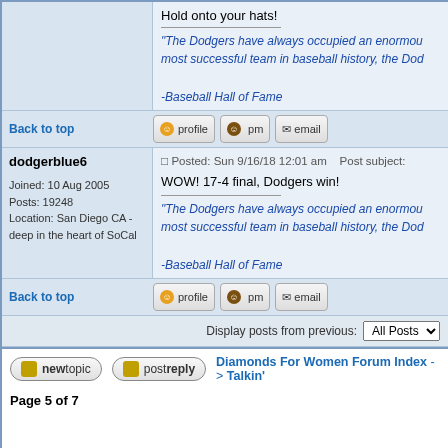Hold onto your hats!
"The Dodgers have always occupied an enormous... most successful team in baseball history, the Dodg...
-Baseball Hall of Fame
Back to top
dodgerblue6
Posted: Sun 9/16/18 12:01 am    Post subject:
Joined: 10 Aug 2005
Posts: 19248
Location: San Diego CA - deep in the heart of SoCal
WOW! 17-4 final, Dodgers win!
"The Dodgers have always occupied an enormous... most successful team in baseball history, the Dodg...
-Baseball Hall of Fame
Back to top
Display posts from previous:  All Posts
Diamonds For Women Forum Index -> Talkin'
Page 5 of 7